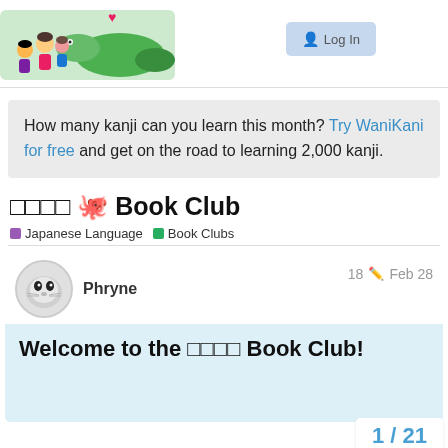[Figure (illustration): WaniKani logo with illustrated cartoon characters including children and a crocodile with a heart, colorful illustration]
How many kanji can you learn this month? Try WaniKani for free and get on the road to learning 2,000 kanji.
□□□□ 🐙 Book Club
Japanese Language   Book Clubs
Phryne   18   Feb 28
Welcome to the □□□□ Book Club!
1 / 21